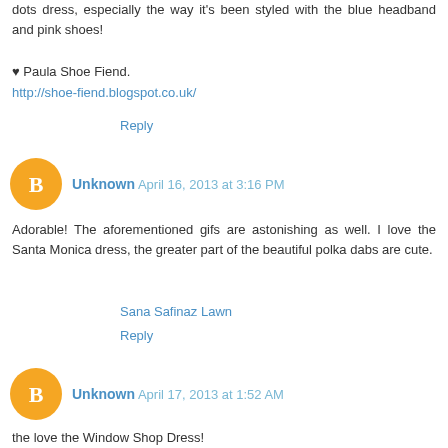dots dress, especially the way it's been styled with the blue headband and pink shoes!
♥ Paula Shoe Fiend.
http://shoe-fiend.blogspot.co.uk/
Reply
Unknown April 16, 2013 at 3:16 PM
Adorable! The aforementioned gifs are astonishing as well. I love the Santa Monica dress, the greater part of the beautiful polka dabs are cute.
Sana Safinaz Lawn
Reply
Unknown April 17, 2013 at 1:52 AM
the love the Window Shop Dress!
Reply